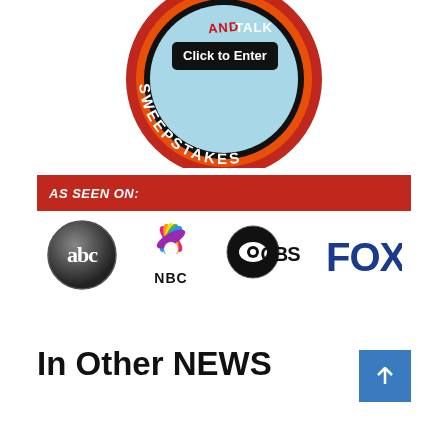[Figure (logo): Circular sweepstakes badge with orange/red border, light blue center, text 'AND TALK', 'Click to Enter', and 'SWEEPSTAKES' around the border]
[Figure (infographic): Red banner with italic white bold text reading 'AS SEEN ON:']
[Figure (logo): Four network logos: ABC (circular dark logo with 'abc'), NBC (colorful peacock logo with 'NBC'), CBS (circular eye logo with 'CBS'), FOX (bold blue text 'FOX')]
In Other NEWS